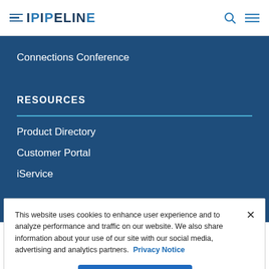iPIPELINE
Connections Conference
RESOURCES
Product Directory
Customer Portal
iService
This website uses cookies to enhance user experience and to analyze performance and traffic on our website. We also share information about your use of our site with our social media, advertising and analytics partners. Privacy Notice
Accept Cookies